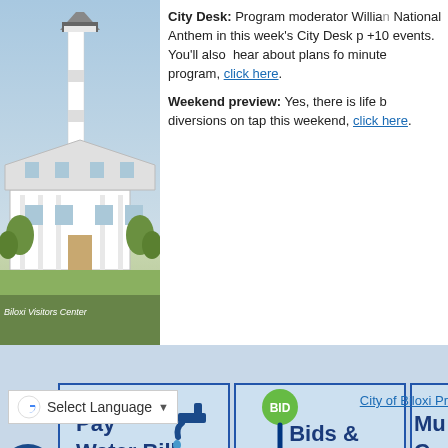[Figure (photo): Biloxi Visitors Center with lighthouse and historic house against blue sky]
Biloxi Visitors Center
City Desk: Program moderator William [cut off] National Anthem in this week's City Desk p[cut off] +10 events. You'll also hear about plans fo[cut off] minute program, click here.
Weekend preview: Yes, there is life b[cut off] diversions on tap this weekend, click here.
[Figure (screenshot): Pay Water Bill banner button with faucet illustration]
[Figure (screenshot): Bids & Vendors banner button with auction paddle illustration]
[Figure (screenshot): Partially visible third banner button (Municipal/Pay)]
Select Language ▼
City of Biloxi Pr[cut off]